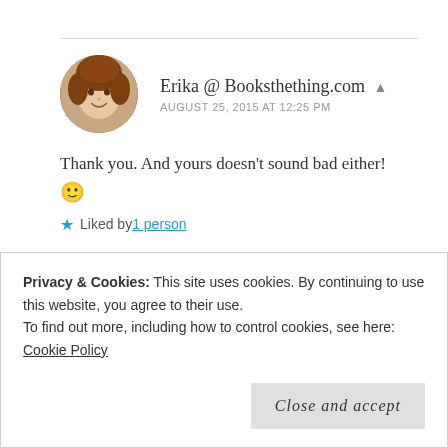[Figure (photo): Circular avatar photo of a woman with curly red/brown hair, smiling, on a white background.]
Erika @ Booksthething.com
AUGUST 25, 2015 AT 12:25 PM
Thank you. And yours doesn't sound bad either! 🙂
★ Liked by 1 person
Reply
Privacy & Cookies: This site uses cookies. By continuing to use this website, you agree to their use.
To find out more, including how to control cookies, see here: Cookie Policy
Close and accept